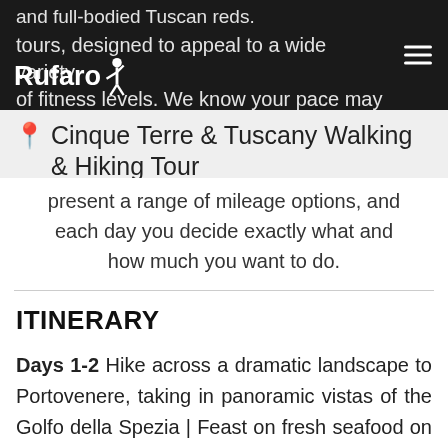Rufaro [logo]
and full-bodied Tuscan reds.
tours, designed to appeal to a wide variety of fitness levels. We know your pace may
Cinque Terre & Tuscany Walking & Hiking Tour
present a range of mileage options, and each day you decide exactly what and how much you want to do.
ITINERARY
Days 1-2 Hike across a dramatic landscape to Portovenere, taking in panoramic vistas of the Golfo della Spezia | Feast on fresh seafood on Palmaria Island | Get to know the Cinque Terre's spectacular coastline, a World Heritage site, on foot and by train | Walk along coastal trails past terraced vineyards and olive groves | Well-groomed paths lined with ancient stone walls lead from stunning Riomaggiore through cliffside Manarola, quiet Corniglia, and colorful